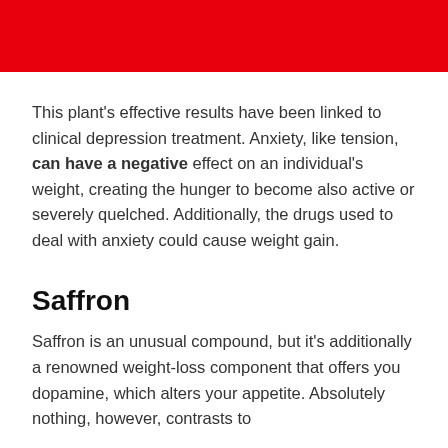[Figure (other): Red banner/header image at the top of the page]
This plant’s effective results have been linked to clinical depression treatment. Anxiety, like tension, can have a negative effect on an individual’s weight, creating the hunger to become also active or severely quelched. Additionally, the drugs used to deal with anxiety could cause weight gain.
Saffron
Saffron is an unusual compound, but it’s additionally a renowned weight-loss component that offers you dopamine, which alters your appetite. Absolutely nothing, however, contrasts to